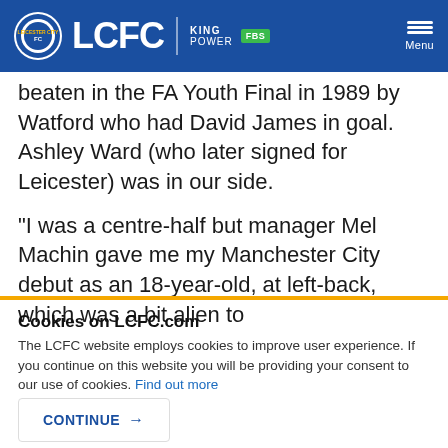LCFC | KING POWER | FBS | Menu
beaten in the FA Youth Final in 1989 by Watford who had David James in goal. Ashley Ward (who later signed for Leicester) was in our side.
“I was a centre-half but manager Mel Machin gave me my Manchester City debut as an 18-year-old, at left-back, which was a bit alien to
Cookies on LCFC.com
The LCFC website employs cookies to improve user experience. If you continue on this website you will be providing your consent to our use of cookies. Find out more